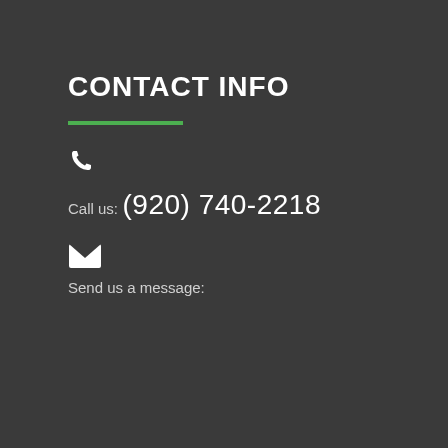CONTACT INFO
Call us:
(920) 740-2218
Send us a message: